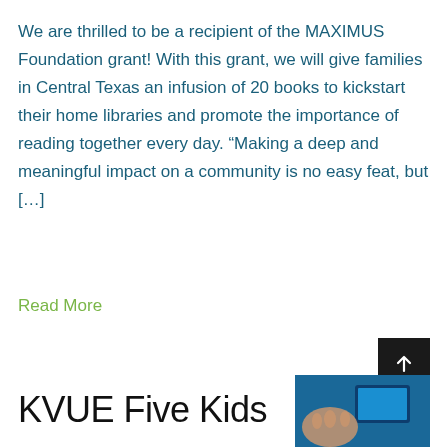We are thrilled to be a recipient of the MAXIMUS Foundation grant! With this grant, we will give families in Central Texas an infusion of 20 books to kickstart their home libraries and promote the importance of reading together every day. “Making a deep and meaningful impact on a community is no easy feat, but […]
Read More
KVUE Five Kids
[Figure (photo): Thumbnail photo showing a hand and a tablet/screen with a blue background]